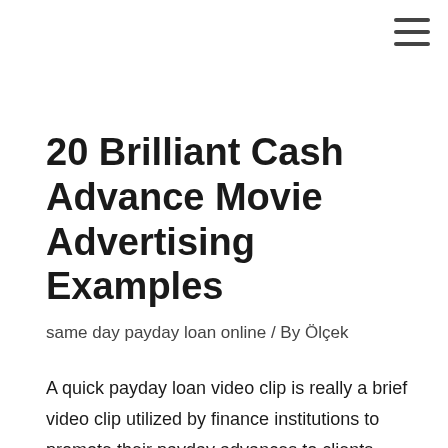20 Brilliant Cash Advance Movie Advertising Examples
same day payday loan online / By Ölçek
A quick payday loan video clip is really a brief video clip utilized by finance institutions to promote their payday advances to clients. Cash advance videos utilize descriptive and informative typographics to display the many benefits of taking a quick payday loan and exactly how one could effortlessly avail the solutions from a bank or perhaps an institution that is financial.
In this essay we glance at 20 cash advance videos which can be on